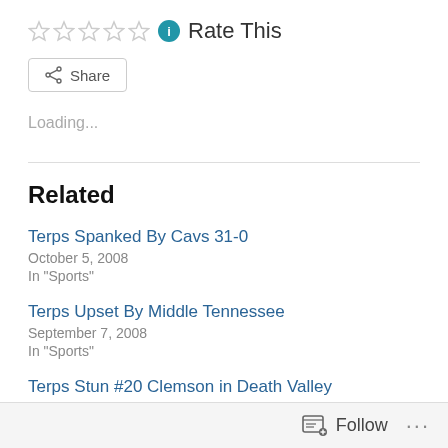Rate This
Share
Loading...
Related
Terps Spanked By Cavs 31-0
October 5, 2008
In "Sports"
Terps Upset By Middle Tennessee
September 7, 2008
In "Sports"
Terps Stun #20 Clemson in Death Valley
Follow ...